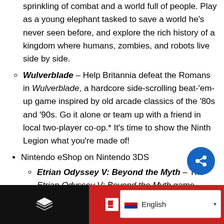sprinkling of combat and a world full of people. Play as a young elephant tasked to save a world he's never seen before, and explore the rich history of a kingdom where humans, zombies, and robots live side by side.
Wulverblade – Help Britannia defeat the Romans in Wulverblade, a hardcore side-scrolling beat-'em-up game inspired by old arcade classics of the '80s and '90s. Go it alone or team up with a friend in local two-player co-op.* It's time to show the Ninth Legion what you're made of!
Nintendo eShop on Nintendo 3DS
Etrian Odyssey V: Beyond the Myth – The Etrian Odyssey V: Beyond the Myth game chronicles the quest of a new adventurer as he or she attempts to reach the crown of the towering Yggdrasil Tree. Persona[lize] ur